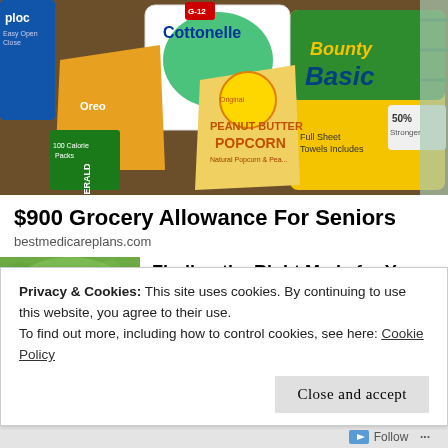[Figure (photo): Grocery products including Cottonelle tissue, Bounty Basic paper towels, Emerald 100 Calorie snacks, Oreo, peanut butter popcorn bag, and other grocery items arranged together]
$900 Grocery Allowance For Seniors
bestmedicareplans.com
[Figure (photo): Close-up of a hand with what appears to be a medication applicator or pen, on a blurred green background]
Finding the Right Meds for Your PsO Skin
HealthCentral.com
Privacy & Cookies: This site uses cookies. By continuing to use this website, you agree to their use.
To find out more, including how to control cookies, see here: Cookie Policy
Close and accept
Follow ...